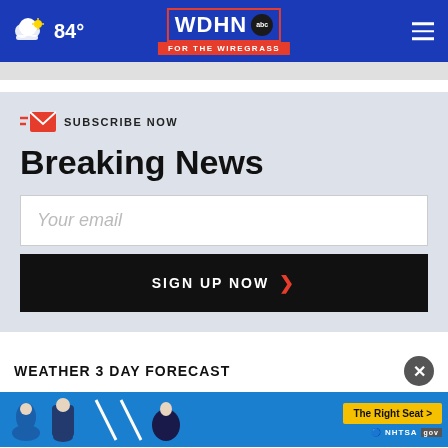84° WDHN ABC FOR THE WIREGRASS
SUBSCRIBE NOW
Breaking News
Your email
SIGN UP NOW ❯
WEATHER 3 DAY FORECAST
[Figure (screenshot): NHTSA car seat safety advertisement banner with child seat images and 'The Right Seat >' button]